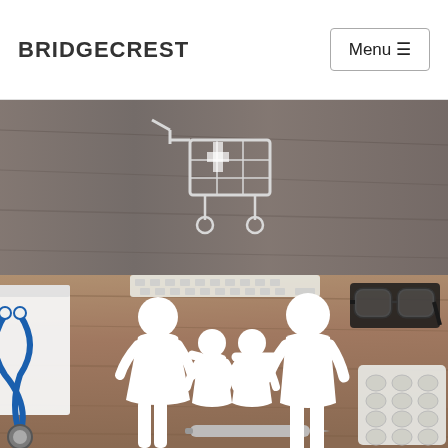BRIDGECREST
[Figure (photo): A miniature shopping cart on a wooden desk surface, with a keyboard visible, photographed from above in a medical/healthcare context]
[Figure (photo): A flat-lay photo on a wooden surface showing a paper cutout family (two adults holding hands with two children), a stethoscope, a keyboard, a pen, glasses, and blister packs of pills — illustrating family health insurance]